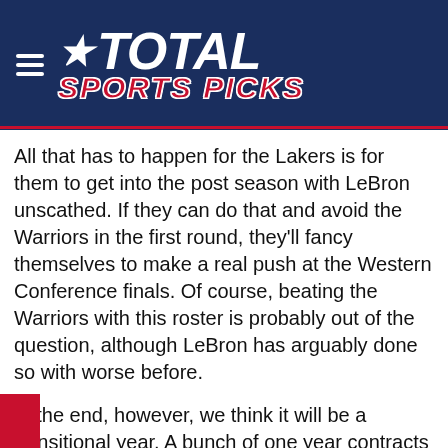[Figure (logo): Total Sports Picks logo with star, white text on navy blue background with red 'SPORTS PICKS' text]
All that has to happen for the Lakers is for them to get into the post season with LeBron unscathed. If they can do that and avoid the Warriors in the first round, they'll fancy themselves to make a real push at the Western Conference finals. Of course, beating the Warriors with this roster is probably out of the question, although LeBron has arguably done so with worse before.
In the end, however, we think it will be a transitional year. A bunch of one year contracts were signed by the veterans who the Lakers acquired in the off-season, so we think it's more likely that we see plenty of reps for the combination of Ingram, Ball, Kuzma and Hart as well as some playoffs experience before